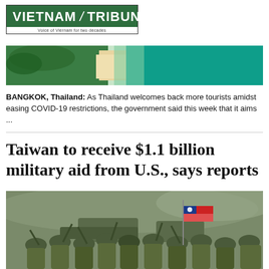[Figure (logo): Vietnam Tribune newspaper logo with green background and white text]
[Figure (photo): Aerial photo of a tropical beach with turquoise water, white sand, and green trees]
BANGKOK, Thailand: As Thailand welcomes back more tourists amidst easing COVID-19 restrictions, the government said this week that it aims ...
Taiwan to receive $1.1 billion military aid from U.S., says reports
[Figure (photo): Taiwanese soldiers in camouflage uniforms celebrating with raised hands, one holding a Taiwan national flag, with military vehicles in the background]